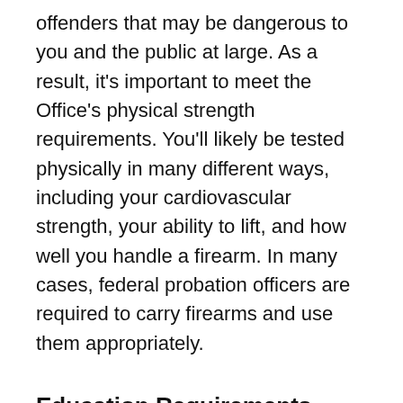offenders that may be dangerous to you and the public at large. As a result, it's important to meet the Office's physical strength requirements. You'll likely be tested physically in many different ways, including your cardiovascular strength, your ability to lift, and how well you handle a firearm. In many cases, federal probation officers are required to carry firearms and use them appropriately.
Education Requirements
In order to work as a federal probation officer, obtaining a bachelor's degree in a related field is required. The US Probation and Pretrial Office notes that acceptable